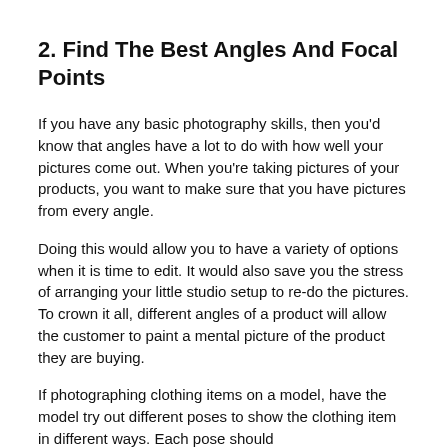2. Find The Best Angles And Focal Points
If you have any basic photography skills, then you'd know that angles have a lot to do with how well your pictures come out. When you're taking pictures of your products, you want to make sure that you have pictures from every angle.
Doing this would allow you to have a variety of options when it is time to edit. It would also save you the stress of arranging your little studio setup to re-do the pictures. To crown it all, different angles of a product will allow the customer to paint a mental picture of the product they are buying.
If photographing clothing items on a model, have the model try out different poses to show the clothing item in different ways. Each pose should